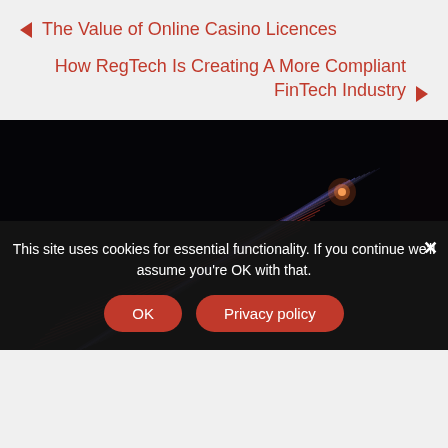◄ The Value of Online Casino Licences
How RegTech Is Creating A More Compliant FinTech Industry ►
[Figure (photo): Abstract long-exposure light trails — red and blue/purple streaks on black background, resembling fiber optic or comet-like motion blur]
This site uses cookies for essential functionality. If you continue we'll assume you're OK with that.
OK   Privacy policy